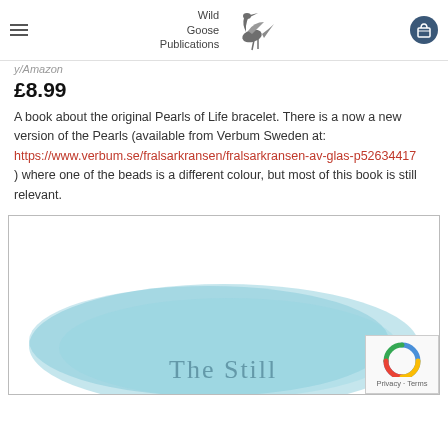Wild Goose Publications — navigation bar
£8.99
A book about the original Pearls of Life bracelet. There is a now a new version of the Pearls (available from Verbum Sweden at: https://www.verbum.se/fralsarkransen/fralsarkransen-av-glas-p52634417 ) where one of the beads is a different colour, but most of this book is still relevant.
[Figure (photo): Book cover showing 'The Still' text over a blue watercolour oval shape, partially visible, inside a bordered box.]